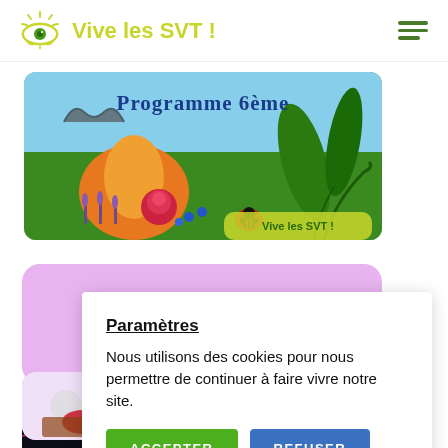Vive les SVT!
[Figure (photo): Programme 6ème - image with flowers, plants, birds, and ladybug on colorful background with 'Vive les SVT!' watermark]
[Figure (photo): Lavender/purple card partially visible behind cookie consent dialog]
Paramètres
Nous utilisons des cookies pour nous permettre de continuer à faire vivre notre site.
ACCEPTER    REFUSER
[Figure (photo): Small thumbnail image partially visible - appears to show food or objects with red and brown colors]
[Figure (screenshot): Bottom image partially visible - dark background suggesting another content card]